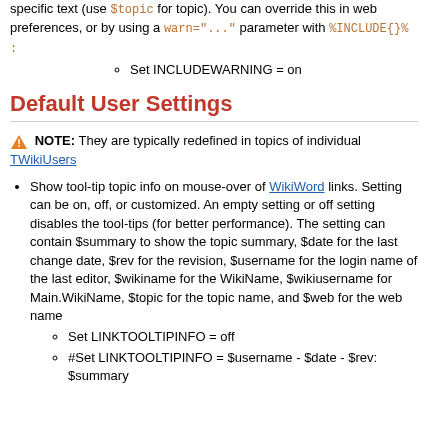specific text (use $topic for topic). You can override this in web preferences, or by using a warn="..." parameter with %INCLUDE{}% :
Set INCLUDEWARNING = on
Default User Settings
NOTE: They are typically redefined in topics of individual TWikiUsers
Show tool-tip topic info on mouse-over of WikiWord links. Setting can be on, off, or customized. An empty setting or off setting disables the tool-tips (for better performance). The setting can contain $summary to show the topic summary, $date for the last change date, $rev for the revision, $username for the login name of the last editor, $wikiname for the WikiName, $wikiusername for Main.WikiName, $topic for the topic name, and $web for the web name
Set LINKTOOLTIPINFO = off
#Set LINKTOOLTIPINFO = $username - $date - $rev: $summary